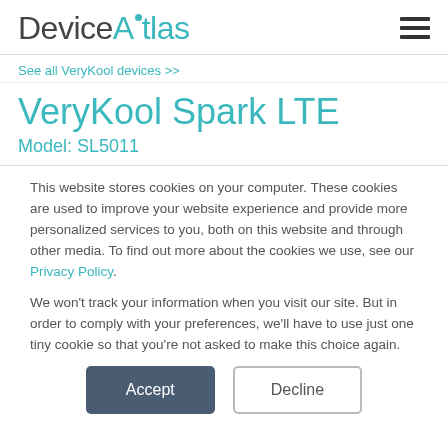[Figure (logo): DeviceAtlas logo with teal 'Atlas' text and dot above 'i' in 'Device']
See all VeryKool devices >>
VeryKool Spark LTE
Model: SL5011
This website stores cookies on your computer. These cookies are used to improve your website experience and provide more personalized services to you, both on this website and through other media. To find out more about the cookies we use, see our Privacy Policy.
We won't track your information when you visit our site. But in order to comply with your preferences, we'll have to use just one tiny cookie so that you're not asked to make this choice again.